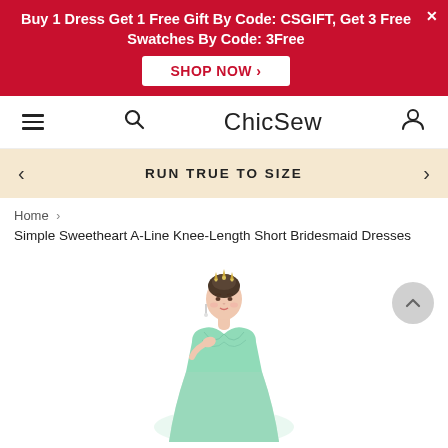Buy 1 Dress Get 1 Free Gift By Code: CSGIFT, Get 3 Free Swatches By Code: 3Free
ChicSew
RUN TRUE TO SIZE
Home > Simple Sweetheart A-Line Knee-Length Short Bridesmaid Dresses
Simple Sweetheart A-Line Knee-Length Short Bridesmaid Dresses
[Figure (photo): Model wearing a mint green sweetheart neckline short bridesmaid dress with a crystal tiara]